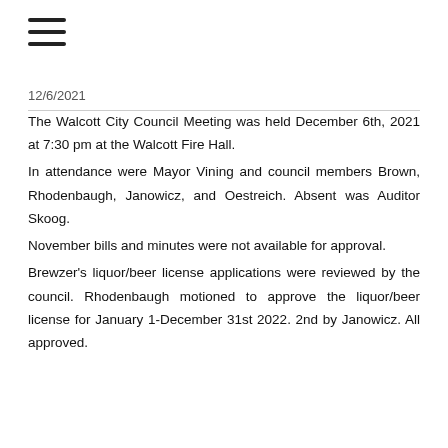≡
12/6/2021
The Walcott City Council Meeting was held December 6th, 2021 at 7:30 pm at the Walcott Fire Hall. In attendance were Mayor Vining and council members Brown, Rhodenbaugh, Janowicz, and Oestreich. Absent was Auditor Skoog. November bills and minutes were not available for approval. Brewzer's liquor/beer license applications were reviewed by the council. Rhodenbaugh motioned to approve the liquor/beer license for January 1-December 31st 2022. 2nd by Janowicz. All approved.